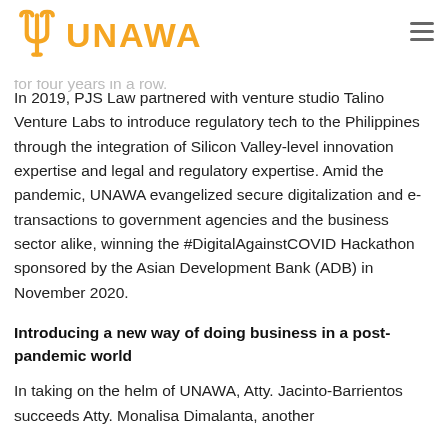UNAWA
Law and, since 1997, has led the firm from a three- [partner] leading Philippine law firm, which has been awarded as being among Asia's top law firms for four years in a row.
In 2019, PJS Law partnered with venture studio Talino Venture Labs to introduce regulatory tech to the Philippines through the integration of Silicon Valley-level innovation expertise and legal and regulatory expertise. Amid the pandemic, UNAWA evangelized secure digitalization and e-transactions to government agencies and the business sector alike, winning the #DigitalAgainstCOVID Hackathon sponsored by the Asian Development Bank (ADB) in November 2020.
Introducing a new way of doing business in a post-pandemic world
In taking on the helm of UNAWA, Atty. Jacinto-Barrientos succeeds Atty. Monalisa Dimalanta, another